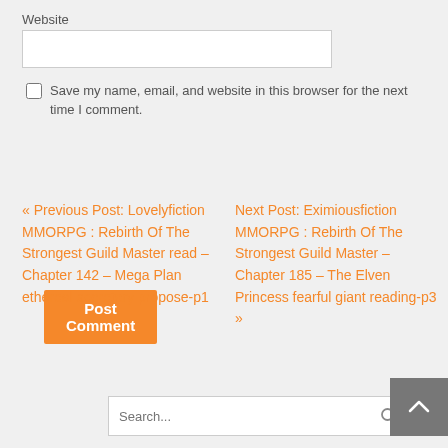Website
Save my name, email, and website in this browser for the next time I comment.
Post Comment
« Previous Post: Lovelyfiction MMORPG : Rebirth Of The Strongest Guild Master read – Chapter 142 – Mega Plan ethereal secretary propose-p1
Next Post: Eximiousfiction MMORPG : Rebirth Of The Strongest Guild Master – Chapter 185 – The Elven Princess fearful giant reading-p3 »
Search...